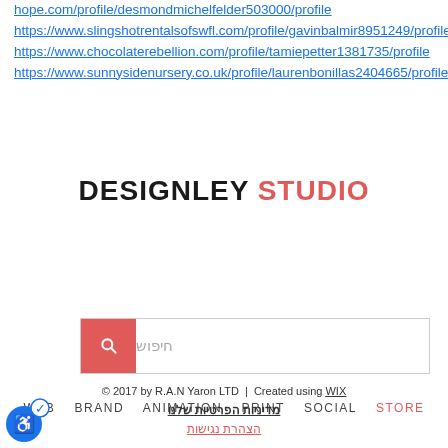hope.com/profile/desmondmichelfelder503000/profile
https://www.slingshotrentalsofswfl.com/profile/gavinbalmir8951249/profile
https://www.chocolaterebellion.com/profile/tamiepetter1381735/profile
https://www.sunnysidenursery.co.uk/profile/laurenbonillas2404665/profile
[Figure (logo): Designley Studio logo with navigation menu: WEB BRAND ANIMATION PRINT SOCIAL STORE]
[Figure (screenshot): Search bar with pink search icon button and Hebrew placeholder text חיפוש]
© 2017 by R.A.N Yaron LTD | Created using WIX
מדיניות הפרטיות שלנו
הצהרת נגישות